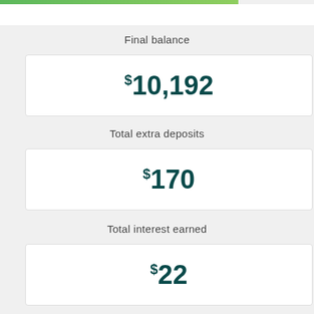Final balance
$10,192
Total extra deposits
$170
Total interest earned
$22